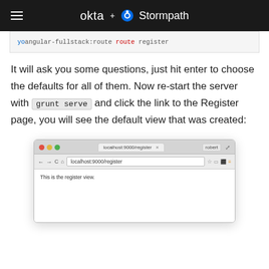okta + Stormpath
yo angular:fullstack:route register
It will ask you some questions, just hit enter to choose the defaults for all of them. Now re-start the server with grunt serve and click the link to the Register page, you will see the default view that was created:
[Figure (screenshot): Browser window showing localhost:9000/register with text 'This is the register view.']